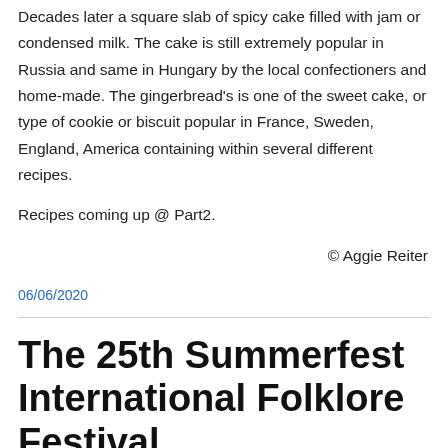Decades later a square slab of spicy cake filled with jam or condensed milk. The cake is still extremely popular in Russia and same in Hungary by the local confectioners and home-made. The gingerbread's is one of the sweet cake, or type of cookie or biscuit popular in France, Sweden, England, America containing within several different recipes.
Recipes coming up @ Part2.
© Aggie Reiter
06/06/2020
The 25th Summerfest International Folklore Festival